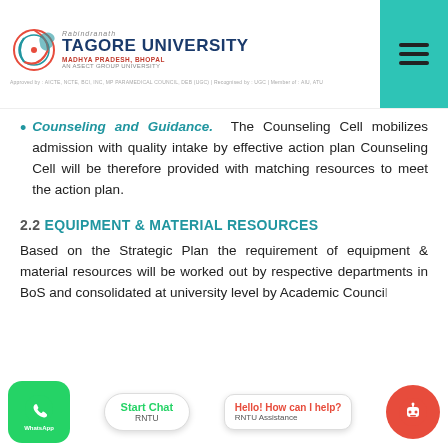Rabindranath Tagore University — Madhya Pradesh, Bhopal — An ASECT Group University
Counseling and Guidance. The Counseling Cell mobilizes admission with quality intake by effective action plan Counseling Cell will be therefore provided with matching resources to meet the action plan.
2.2 EQUIPMENT & MATERIAL RESOURCES
Based on the Strategic Plan the requirement of equipment & material resources will be worked out by respective departments in BoS and consolidated at university level by Academic Council and requirement me... ned